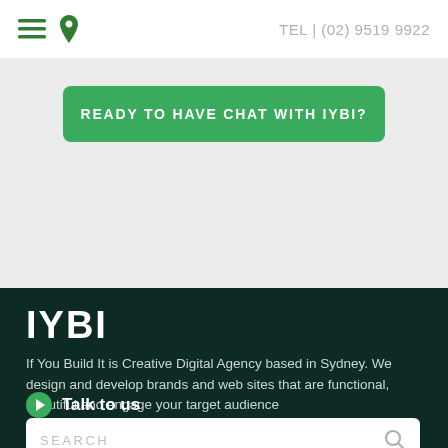TEL | (02) 9519 9922
[Figure (other): Green CTA button with text READY TO HAVE CHAT WITH IYBI? on light grey background]
IYBI
If You Build It is Creative Digital Agency based in Sydney. We design and develop brands and web sites that are functional, beautiful and engage your target audience
Talk to us
SEARCH
Our Work